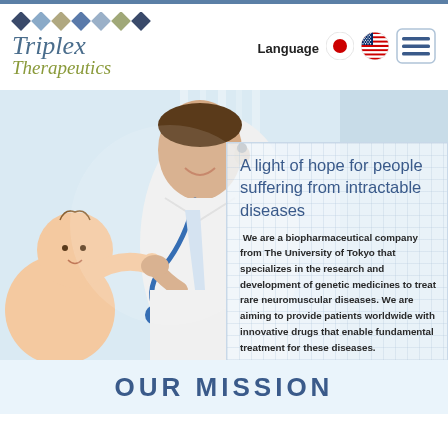[Figure (logo): Triplex Therapeutics logo with diamond pattern and italic serif text]
Language
[Figure (illustration): Japanese flag circle button]
[Figure (illustration): US flag circle button]
[Figure (illustration): Hamburger menu button]
[Figure (photo): Doctor with stethoscope examining a baby, medical office background]
A light of hope for people suffering from intractable diseases
We are a biopharmaceutical company from The University of Tokyo that specializes in the research and development of genetic medicines to treat rare neuromuscular diseases. We are aiming to provide patients worldwide with innovative drugs that enable fundamental treatment for these diseases.
OUR MISSION